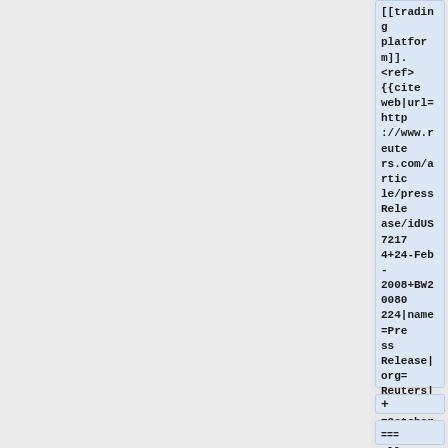[[trading platform]].
<ref>
{{cite web|url=http://www.reuters.com/article/pressRelease/idUS72174+24-Feb-2008+BW20080224|name=Press Release|org=Reuters|date=October 20, 2008}}
</ref>
+
=== NASDAQ